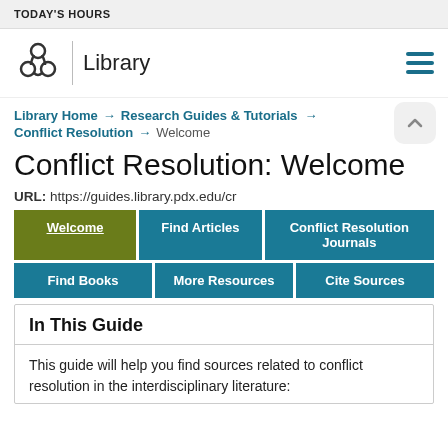TODAY'S HOURS
[Figure (logo): Library logo with knot/pretzel symbol and 'Library' text, plus hamburger menu icon]
Library Home → Research Guides & Tutorials → Conflict Resolution → Welcome
Conflict Resolution: Welcome
URL: https://guides.library.pdx.edu/cr
Navigation tabs: Welcome (active), Find Articles, Conflict Resolution Journals, Find Books, More Resources, Cite Sources
In This Guide
This guide will help you find sources related to conflict resolution in the interdisciplinary literature: